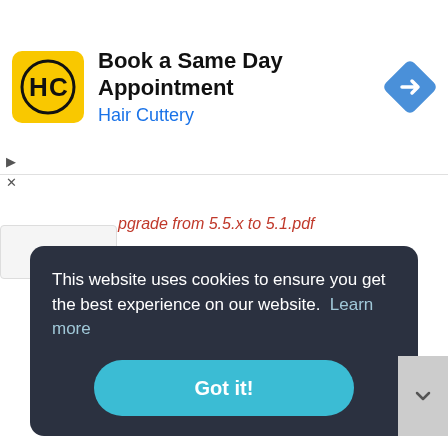[Figure (screenshot): Hair Cuttery advertisement banner with logo, headline 'Book a Same Day Appointment', subheading 'Hair Cuttery' in blue, and a blue navigation/directions diamond icon on the right.]
pgrade from 5.5.x to 5.1.pdf
This website uses cookies to ensure you get the best experience on our website.  Learn more
Got it!